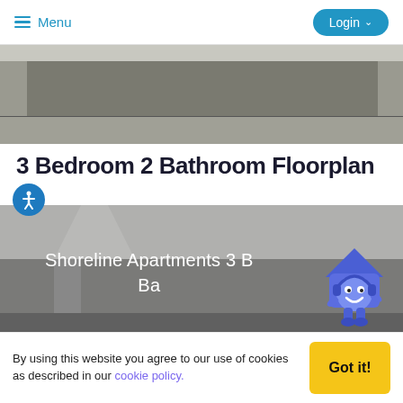Menu | Login
[Figure (screenshot): Matterport virtual tour panel showing a kitchen interior with 'POWERED BY Matterport' overlay logo]
3 Bedroom 2 Bathroom Floorplan
[Figure (photo): Interior room photo showing hallway of Shoreline Apartments 3 Bed 2 Ba, with a blue house chatbot mascot character in the bottom right]
By using this website you agree to our use of cookies as described in our cookie policy.